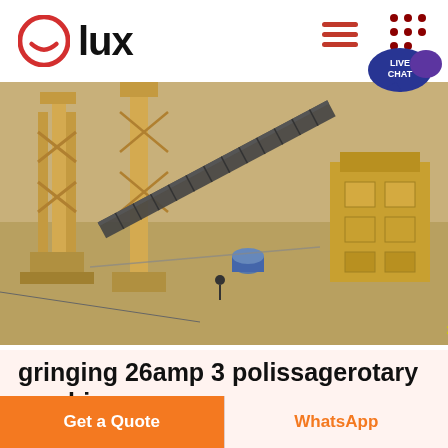lux
[Figure (photo): Aerial view of an industrial mining or quarrying site with yellow gantry structures, conveyor belts, and heavy machinery. Timestamp reads 2009-01/2 13:5 in yellow text at bottom right.]
gringing 26amp 3 polissagerotary machine
gringing 26amp 3 polishingrotary machine . old